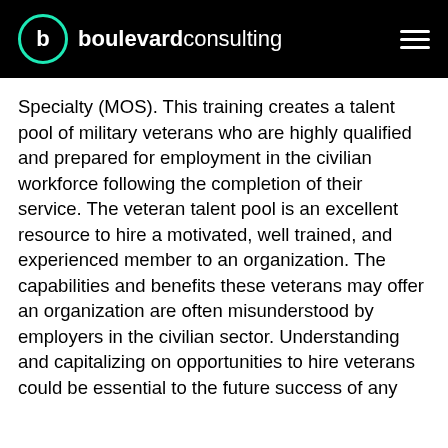boulevard consulting
Specialty (MOS). This training creates a talent pool of military veterans who are highly qualified and prepared for employment in the civilian workforce following the completion of their service. The veteran talent pool is an excellent resource to hire a motivated, well trained, and experienced member to an organization. The capabilities and benefits these veterans may offer an organization are often misunderstood by employers in the civilian sector. Understanding and capitalizing on opportunities to hire veterans could be essential to the future success of any organization.